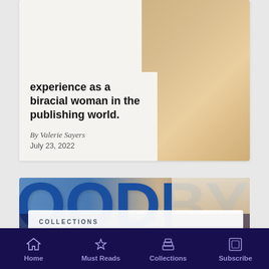experience as a biracial woman in the publishing world.
By Valerie Sayers
July 23, 2022
[Figure (photo): Large text reading 'GOODBYE' in bold blue letters on a sign, with a person visible in the background]
COLLECTIONS
Abortion After Dobbs
Commonweal writers discuss what Dobbs is likely to mean for abortion law, American
Home  Must Reads  Collections  Subscribe